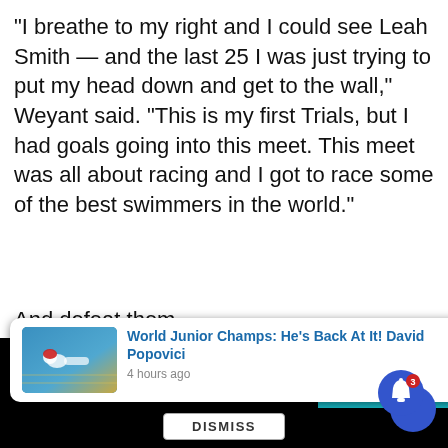“I breathe to my right and I could see Leah Smith — and the last 25 I was just trying to put my head down and get to the wall,” Weyant said. “This is my first Trials, but I had goals going into this meet. This meet was all about racing and I got to race some of the best swimmers in the world.”
And defeat them.
sponsor
[Figure (photo): Sponsor advertisement image with a swimming logo (globe with swimmer) on an orange/blue background, partially visible.]
[Figure (screenshot): Notification popup showing: 'World Junior Champs: He's Back At It! David Popovici' with swimmer thumbnail, posted 4 hours ago. Below is a teal banner partially showing 'HOUSAND?' text. A DISMISS button appears at the bottom. A blue bell notification icon with badge '3' is in the bottom right.]